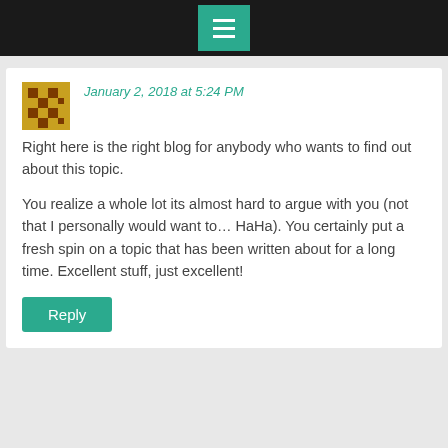[navigation bar with menu icon]
January 2, 2018 at 5:24 PM
Right here is the right blog for anybody who wants to find out about this topic.
You realize a whole lot its almost hard to argue with you (not that I personally would want to… HaHa). You certainly put a fresh spin on a topic that has been written about for a long time. Excellent stuff, just excellent!
Reply
CBD Pure Oil Review says:
January 2, 2018 at 5:29 PM
I actually still cannot quite believe I could often be one...